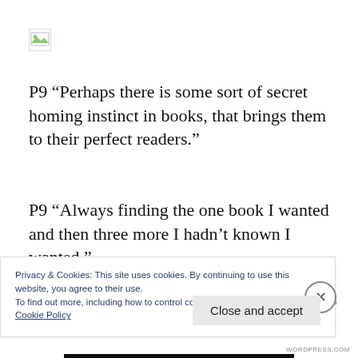[Figure (other): Broken/placeholder image icon in top left corner]
P9 “Perhaps there is some sort of secret homing instinct in books, that brings them to their perfect readers.”
P9 “Always finding the one book I wanted and then three more I hadn’t known I wanted.”
The central character Iuliet. is introduced to
Privacy & Cookies: This site uses cookies. By continuing to use this website, you agree to their use.
To find out more, including how to control cookies, see here:
Cookie Policy
Close and accept